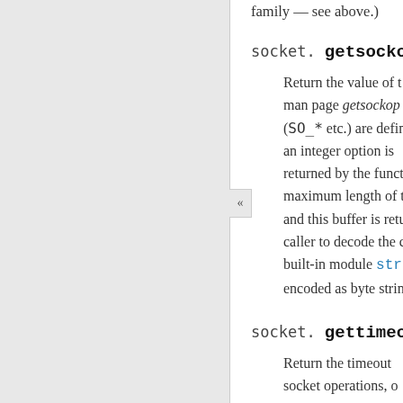family — see above.)
socket.getsockopt
Return the value of the man page getsockopt (SO_* etc.) are defined an integer option is returned by the function maximum length of the and this buffer is returned caller to decode the contents built-in module struct encoded as byte strings.
socket.gettimeout
Return the timeout associated with socket operations, or reflects the last call to settimeout().
socket.ioctl(control